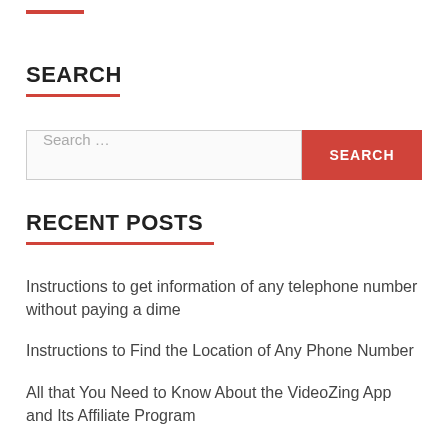SEARCH
Search...
RECENT POSTS
Instructions to get information of any telephone number without paying a dime
Instructions to Find the Location of Any Phone Number
All that You Need to Know About the VideoZing App and Its Affiliate Program
Step by step instructions to Make Money Online with